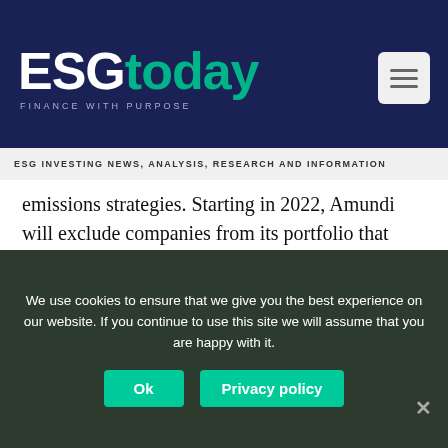ESGtoday — FINANCE WITH PURPOSE
ESG INVESTING NEWS, ANALYSIS, RESEARCH AND INFORMATION
emissions strategies. Starting in 2022, Amundi will exclude companies from its portfolio that generate over 30% of their activity from unconventional oil and gas production, the firm has also committed to reduce its own emissions by 30% per employee by 2025.
Additionally, Amundi said that the achievement of its ESG objectives will constitute a 20% weight in the KPIs
Don't miss the top ESG stories!
We use cookies to ensure that we give you the best experience on our website. If you continue to use this site we will assume that you are happy with it.
Ok
Privacy policy